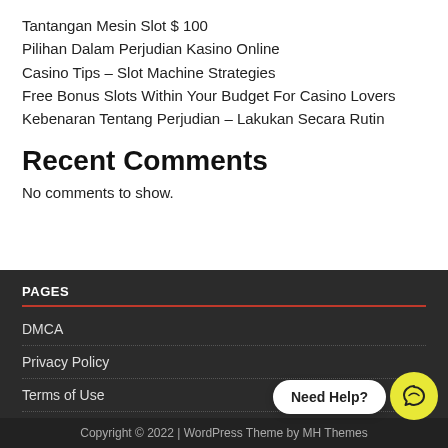Tantangan Mesin Slot $ 100
Pilihan Dalam Perjudian Kasino Online
Casino Tips – Slot Machine Strategies
Free Bonus Slots Within Your Budget For Casino Lovers
Kebenaran Tentang Perjudian – Lakukan Secara Rutin
Recent Comments
No comments to show.
PAGES
DMCA
Privacy Policy
Terms of Use
Copyright © 2022 | WordPress Theme by MH Themes